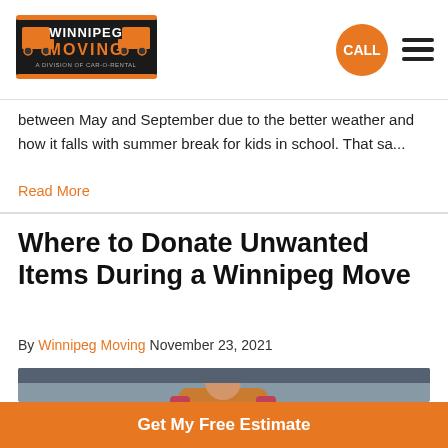[Figure (logo): Winnipeg Moving logo with truck imagery on dark background]
between May and September due to the better weather and how it falls with summer break for kids in school. That sa...
Read More
Where to Donate Unwanted Items During a Winnipeg Move
By Winnipeg Moving November 23, 2021
[Figure (photo): Person sitting, wearing orange top and pink cardigan, against a grey background]
Get My Free Estimate